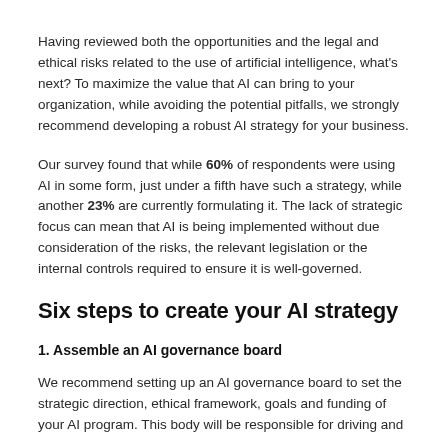Having reviewed both the opportunities and the legal and ethical risks related to the use of artificial intelligence, what's next? To maximize the value that AI can bring to your organization, while avoiding the potential pitfalls, we strongly recommend developing a robust AI strategy for your business.
Our survey found that while 60% of respondents were using AI in some form, just under a fifth have such a strategy, while another 23% are currently formulating it. The lack of strategic focus can mean that AI is being implemented without due consideration of the risks, the relevant legislation or the internal controls required to ensure it is well-governed.
Six steps to create your AI strategy
1. Assemble an AI governance board
We recommend setting up an AI governance board to set the strategic direction, ethical framework, goals and funding of your AI program. This body will be responsible for driving and